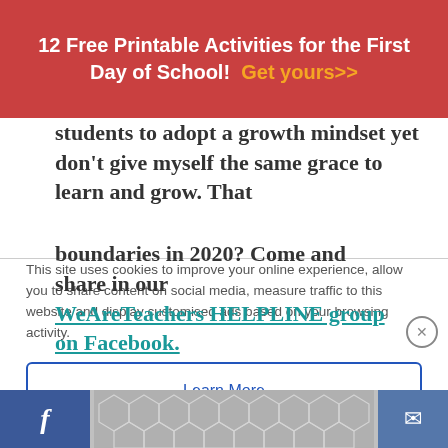12 Free Printable Activities for the First Day of School! Get yours>>
students to adopt a growth mindset yet don't give myself the same grace to learn and grow. That
This site uses cookies to improve your online experience, allow you to share content on social media, measure traffic to this website and display customised ads based on your browsing activity.
Learn More
Accept
boundaries in 2020? Come and share in our WeAreTeachers HELPLINE group on Facebook.
f [social footer bar]